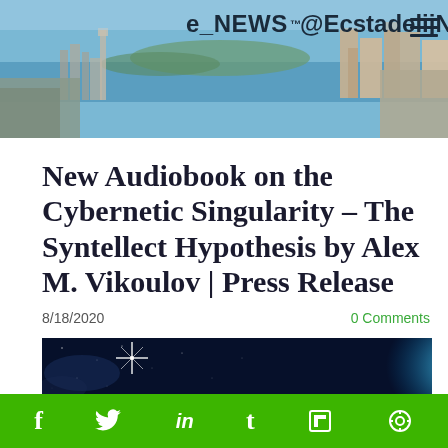e_NEWS @EcstadelicNET
New Audiobook on the Cybernetic Singularity – The Syntellect Hypothesis by Alex M. Vikoulov | Press Release
8/18/2020
0 Comments
[Figure (photo): Space/cosmos image with bright star and glowing blue planet or earth edge on right]
Social sharing bar with icons: Facebook, Twitter, LinkedIn, Tumblr, Flipboard, other